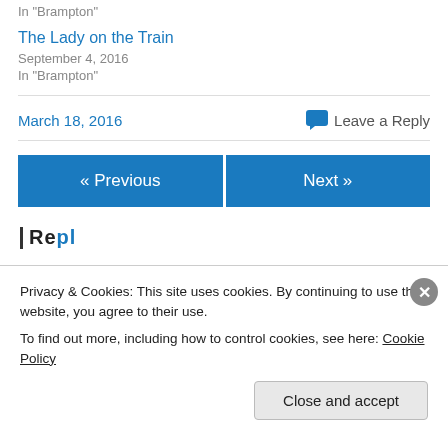In "Brampton"
The Lady on the Train
September 4, 2016
In "Brampton"
March 18, 2016
Leave a Reply
« Previous
Next »
Privacy & Cookies: This site uses cookies. By continuing to use this website, you agree to their use. To find out more, including how to control cookies, see here: Cookie Policy
Close and accept